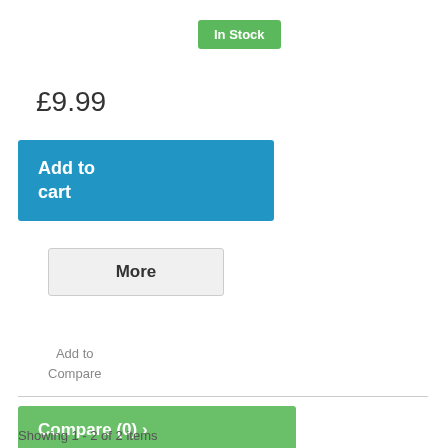In Stock
£9.99
Add to cart
More
Add to Compare
Compare (0) >
Showing 1 - 2 of 2 items